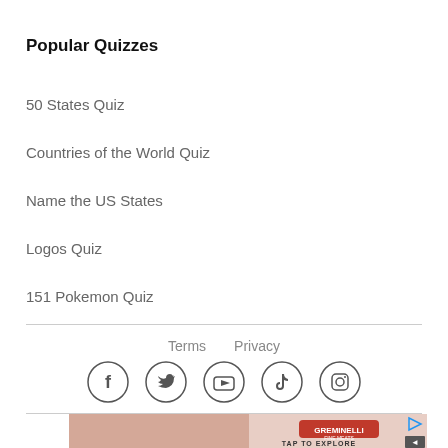Popular Quizzes
50 States Quiz
Countries of the World Quiz
Name the US States
Logos Quiz
151 Pokemon Quiz
Terms   Privacy
[Figure (infographic): Social media icons in circles: Facebook, Twitter, YouTube, TikTok, Instagram]
[Figure (photo): Advertisement banner with Greminelli branding, TAP TO EXPLORE text, play button icon, and speaker icon]